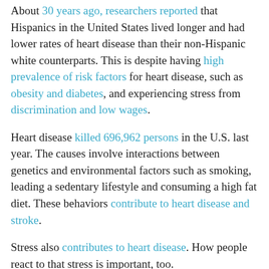About 30 years ago, researchers reported that Hispanics in the United States lived longer and had lower rates of heart disease than their non-Hispanic white counterparts. This is despite having high prevalence of risk factors for heart disease, such as obesity and diabetes, and experiencing stress from discrimination and low wages.
Heart disease killed 696,962 persons in the U.S. last year. The causes involve interactions between genetics and environmental factors such as smoking, leading a sedentary lifestyle and consuming a high fat diet. These behaviors contribute to heart disease and stroke.
Stress also contributes to heart disease. How people react to that stress is important, too.